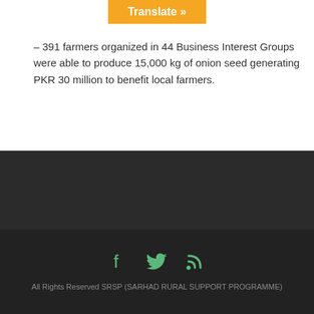[Figure (screenshot): Orange 'Translate »' button at top center of page]
– 391 farmers organized in 44 Business Interest Groups were able to produce 15,000 kg of onion seed generating PKR 30 million to benefit local farmers.
[Figure (illustration): Dark grey background section (content area placeholder)]
[Figure (illustration): Scroll-to-top button with upward caret arrow, bottom right]
All Rights Reserved SRSP (SARHAD RURAL SUPPORT PROGRAMME)